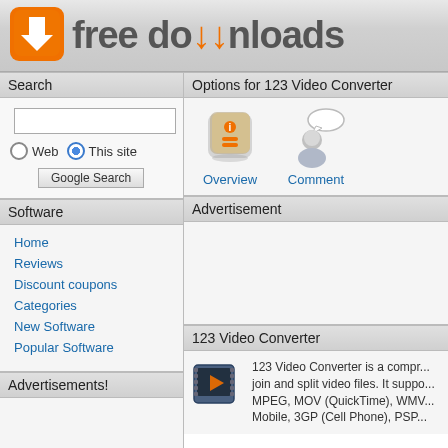[Figure (logo): freedownloads website logo with orange download icon and text 'free downloads']
Search
[Figure (screenshot): Search panel with text input, Web/This site radio buttons, and Google Search button]
Software
Home
Reviews
Discount coupons
Categories
New Software
Popular Software
Advertisements!
Options for 123 Video Converter
[Figure (screenshot): Options panel showing Overview icon (info badge) and Comments icon (person with speech bubble)]
Advertisement
123 Video Converter
123 Video Converter is a compr... join and split video files. It suppo... MPEG, MOV (QuickTime), WMV... Mobile, 3GP (Cell Phone), PSP...